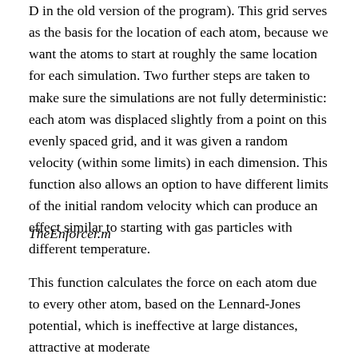D in the old version of the program). This grid serves as the basis for the location of each atom, because we want the atoms to start at roughly the same location for each simulation. Two further steps are taken to make sure the simulations are not fully deterministic: each atom was displaced slightly from a point on this evenly spaced grid, and it was given a random velocity (within some limits) in each dimension. This function also allows an option to have different limits of the initial random velocity which can produce an effect similar to starting with gas particles with different temperature.
TheEnforcer.m
This function calculates the force on each atom due to every other atom, based on the Lennard-Jones potential, which is ineffective at large distances, attractive at moderate